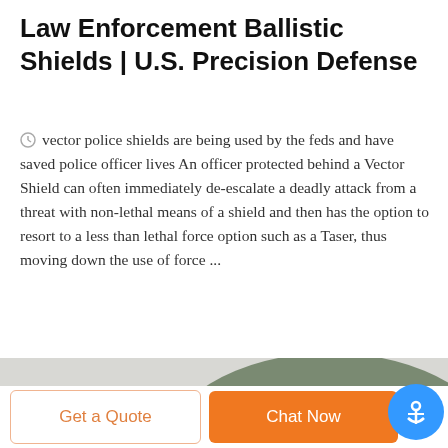Law Enforcement Ballistic Shields | U.S. Precision Defense
vector police shields are being used by the feds and have saved police officer lives An officer protected behind a Vector Shield can often immediately de-escalate a deadly attack from a threat with non-lethal means of a shield and then has the option to resort to a less than lethal force option such as a Taser, thus moving down the use of force ...
[Figure (photo): Tactical military helmet (olive/grey) shown from the side, overlaid with a DEEKON brand logo (circular camouflage pattern with red D in center, red DEEKON text below)]
Get a Quote
Chat Now